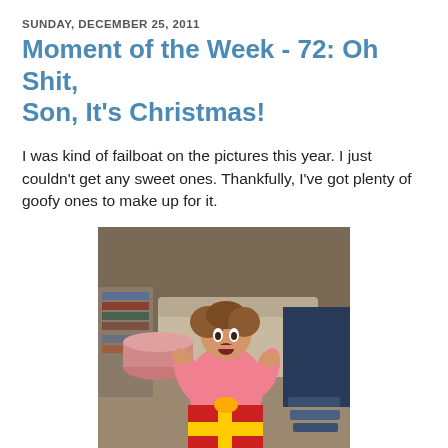SUNDAY, DECEMBER 25, 2011
Moment of the Week - 72: Oh Shit, Son, It's Christmas!
I was kind of failboat on the pictures this year. I just couldn't get any sweet ones. Thankfully, I've got plenty of goofy ones to make up for it.
[Figure (photo): Young child in pink pajamas sitting on floor with excited/surprised expression, opening Christmas gifts. A couch and bookshelf visible in background.]
Presents make me crazypants!
[Figure (photo): Partial view of another photo showing a child with curly hair, mostly cut off at bottom of page.]